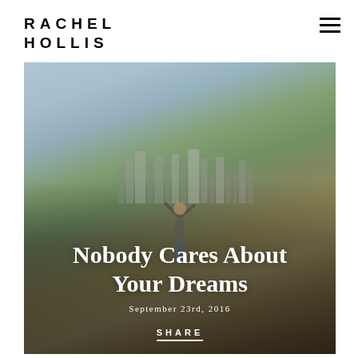RACHEL HOLLIS
[Figure (photo): A woman standing with arms raised overlooking a city skyline (Los Angeles), photographed from behind. Blue sky, green landscape, downtown skyscrapers in background. Text overlay shows article title 'Nobody Cares About Your Dreams', date 'September 23rd, 2016', and a SHARE button.]
Nobody Cares About Your Dreams
September 23rd, 2016
SHARE